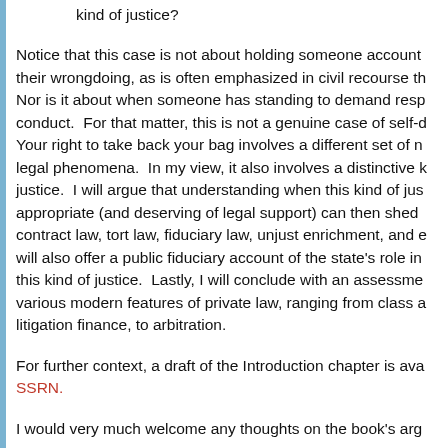kind of justice?
Notice that this case is not about holding someone account their wrongdoing, as is often emphasized in civil recourse th Nor is it about when someone has standing to demand resp conduct. For that matter, this is not a genuine case of self- Your right to take back your bag involves a different set of n legal phenomena. In my view, it also involves a distinctive k justice. I will argue that understanding when this kind of jus appropriate (and deserving of legal support) can then shed contract law, tort law, fiduciary law, unjust enrichment, and will also offer a public fiduciary account of the state's role in this kind of justice. Lastly, I will conclude with an assessme various modern features of private law, ranging from class a litigation finance, to arbitration.
For further context, a draft of the Introduction chapter is ava SSRN.
I would very much welcome any thoughts on the book's arg